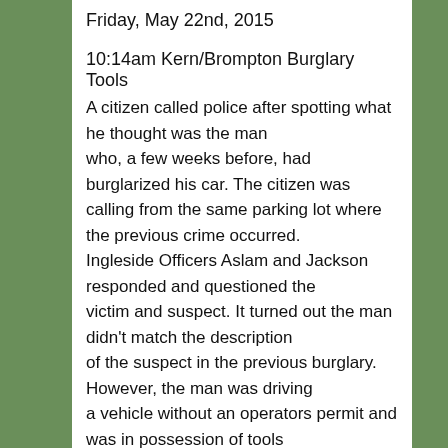Friday, May 22nd, 2015
10:14am Kern/Brompton Burglary Tools
A citizen called police after spotting what he thought was the man who, a few weeks before, had burglarized his car. The citizen was calling from the same parking lot where the previous crime occurred. Ingleside Officers Aslam and Jackson responded and questioned the victim and suspect. It turned out the man didn't match the description of the suspect in the previous burglary. However, the man was driving a vehicle without an operators permit and was in possession of tools